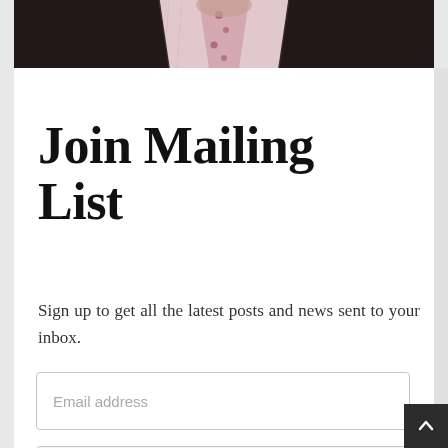[Figure (photo): Top portion of a person in a dark suit jacket with a striped pink shirt and dotted tie visible at the collar.]
Join Mailing List
Sign up to get all the latest posts and news sent to your inbox.
Email address (input field placeholder)
[Figure (other): reCAPTCHA widget with checkbox labeled 'I'm not a robot', reCAPTCHA logo, and Privacy · Terms links.]